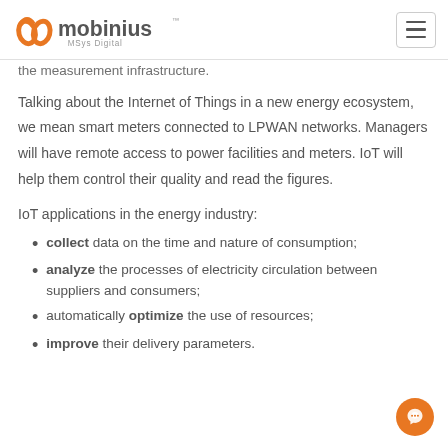mobinius MSys Digital
the measurement infrastructure.
Talking about the Internet of Things in a new energy ecosystem, we mean smart meters connected to LPWAN networks. Managers will have remote access to power facilities and meters. IoT will help them control their quality and read the figures.
IoT applications in the energy industry:
collect data on the time and nature of consumption;
analyze the processes of electricity circulation between suppliers and consumers;
automatically optimize the use of resources;
improve their delivery parameters.